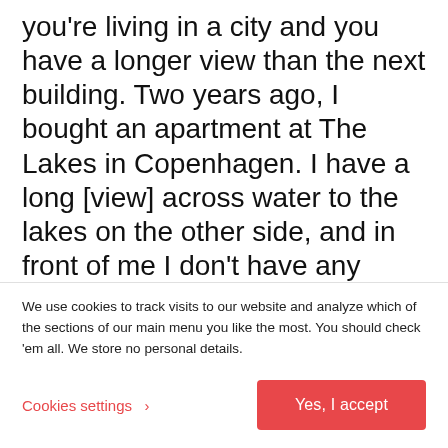you're living in a city and you have a longer view than the next building. Two years ago, I bought an apartment at The Lakes in Copenhagen. I have a long [view] across water to the lakes on the other side, and in front of me I don't have any roads. I just have people, like here, walking or running. You open the door and hear people running and walking and talking.
I think luxury is about coming from your apartment—it can be tiny—and you go to the street
We use cookies to track visits to our website and analyze which of the sections of our main menu you like the most. You should check 'em all. We store no personal details.